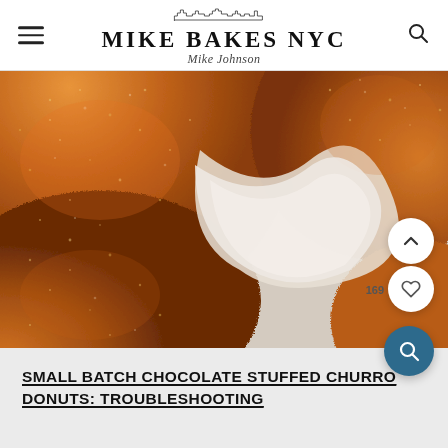MIKE BAKES NYC — Mike Johnson
[Figure (photo): Close-up overhead photo of churro donuts coated in cinnamon sugar on a light surface, showing the golden-brown textured coating in detail.]
SMALL BATCH CHOCOLATE STUFFED CHURRO DONUTS: TROUBLESHOOTING